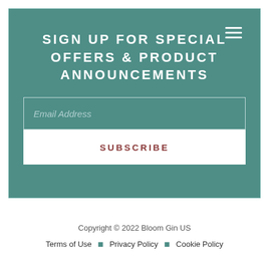SIGN UP FOR SPECIAL OFFERS & PRODUCT ANNOUNCEMENTS
Email Address
SUBSCRIBE
Copyright © 2022 Bloom Gin US
Terms of Use · Privacy Policy · Cookie Policy